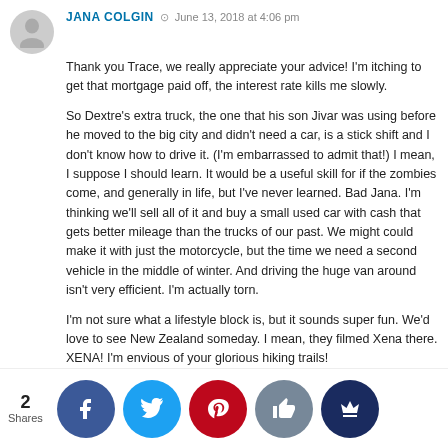JANA COLGIN · June 13, 2018 at 4:06 pm
Thank you Trace, we really appreciate your advice! I'm itching to get that mortgage paid off, the interest rate kills me slowly.
So Dextre's extra truck, the one that his son Jivar was using before he moved to the big city and didn't need a car, is a stick shift and I don't know how to drive it. (I'm embarrassed to admit that!) I mean, I suppose I should learn. It would be a useful skill for if the zombies come, and generally in life, but I've never learned. Bad Jana. I'm thinking we'll sell all of it and buy a small used car with cash that gets better mileage than the trucks of our past. We might could make it with just the motorcycle, but the time we need a second vehicle in the middle of winter. And driving the huge van around isn't very efficient. I'm actually torn.
I'm not sure what a lifestyle block is, but it sounds super fun. We'd love to see New Zealand someday. I mean, they filmed Xena there. XENA! I'm envious of your glorious hiking trails!
[Figure (infographic): Social sharing bar with 2 Shares count and 5 social media buttons: Facebook (blue), Twitter (cyan), Pinterest (red), Like/thumbs-up (grey-blue), and crown icon (dark blue).]